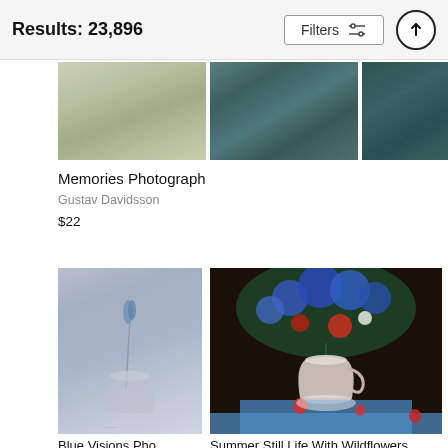Results: 23,896
[Figure (photo): Three horizontally arranged muted still-life photos — beige/green tones — cropped top portion visible]
Memories Photograph
Gustav Davidsson
$22
[Figure (photo): Blue visions photo: a white ceramic vase with a single blue flower stem on gray background]
[Figure (photo): Summer Still Life With Wildflowers: colorful bouquet of blue, red, and white wildflowers in a white pitcher on a blue tablecloth with strawberries]
Blue Visions Pho
Summer Still Life With Wildflowers